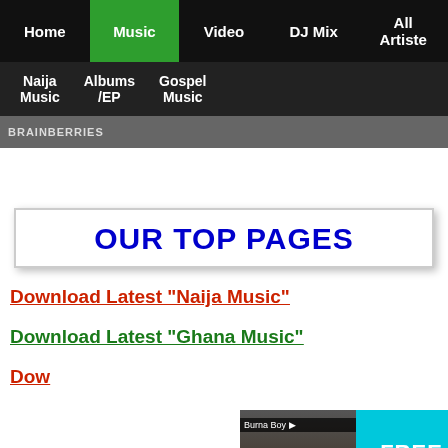Home | Music | Video | DJ Mix | All Artiste | Naija Music | Albums/EP | Gospel Music
BRAINBERRIES
OUR TOP PAGES
Download Latest "Naija Music"
Download Latest "Ghana Music"
[Figure (screenshot): Boomplay music advertisement banner with FREE MUSIC text and Get it on Boomplay button with artist image]
Downl... (partial)
Download "top 10 Songs Of the week"